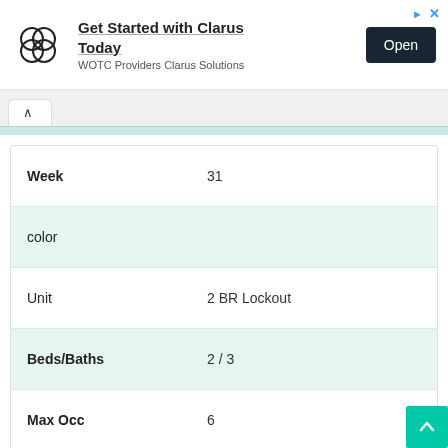[Figure (screenshot): Advertisement banner for Clarus Solutions - WOTC Providers, with logo, headline 'Get Started with Clarus Today', subtext 'WOTC Providers Clarus Solutions', and an 'Open' button]
| Week | 31 |
| color |  |
| Unit | 2 BR Lockout |
| Beds/Baths | 2 / 3 |
| Max Occ | 6 |
| Sold |  |
| - |  |